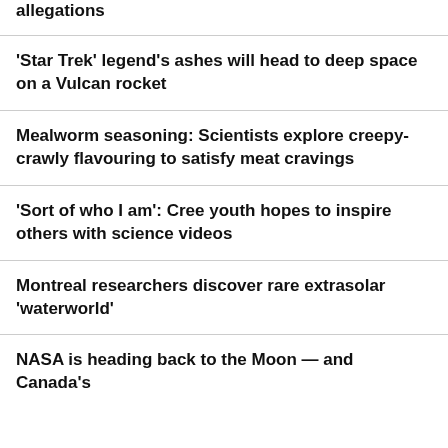allegations
'Star Trek' legend's ashes will head to deep space on a Vulcan rocket
Mealworm seasoning: Scientists explore creepy-crawly flavouring to satisfy meat cravings
'Sort of who I am': Cree youth hopes to inspire others with science videos
Montreal researchers discover rare extrasolar 'waterworld'
NASA is heading back to the Moon — and Canada's